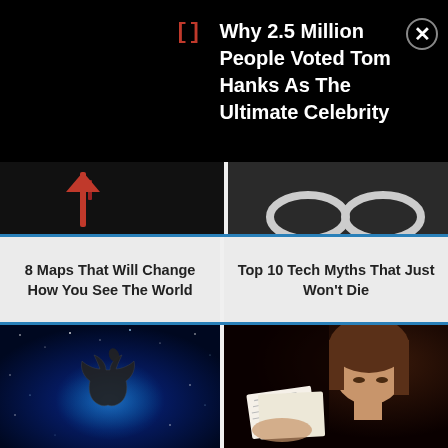Why 2.5 Million People Voted Tom Hanks As The Ultimate Celebrity
[Figure (screenshot): Partially visible top image strip: left cell shows dark background with red element, right cell shows dark background with partial white circular shapes]
8 Maps That Will Change How You See The World
Top 10 Tech Myths That Just Won't Die
[Figure (photo): Apple logo glowing on a blue starfield/galaxy background]
[Figure (photo): Young woman with brown hair looking down at papers/cards she is holding]
Top 10 Failed Products
Top 10 Failed Welfare...